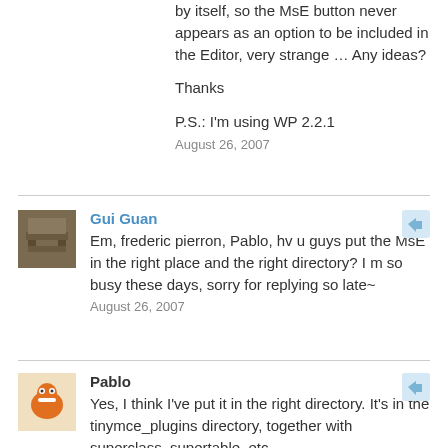by itself, so the MsE button never appears as an option to be included in the Editor, very strange … Any ideas?
Thanks
P.S.: I'm using WP 2.2.1
August 26, 2007
Gui Guan
Em, frederic pierron, Pablo, hv u guys put the MsE in the right place and the right directory? I m so busy these days, sorry for replying so late~
August 26, 2007
Pablo
Yes, I think I've put it in the right directory. It's in the tinymce_plugins directory, together with superclass, supertable, etc.
It DOES show up as an available